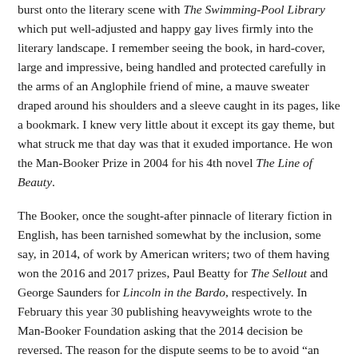burst onto the literary scene with The Swimming-Pool Library which put well-adjusted and happy gay lives firmly into the literary landscape. I remember seeing the book, in hard-cover, large and impressive, being handled and protected carefully in the arms of an Anglophile friend of mine, a mauve sweater draped around his shoulders and a sleeve caught in its pages, like a bookmark. I knew very little about it except its gay theme, but what struck me that day was that it exuded importance. He won the Man-Booker Prize in 2004 for his 4th novel The Line of Beauty.
The Booker, once the sought-after pinnacle of literary fiction in English, has been tarnished somewhat by the inclusion, some say, in 2014, of work by American writers; two of them having won the 2016 and 2017 prizes, Paul Beatty for The Sellout and George Saunders for Lincoln in the Bardo, respectively. In February this year 30 publishing heavyweights wrote to the Man-Booker Foundation asking that the 2014 decision be reversed. The reason for the dispute seems to be to avoid "an homogenised literary